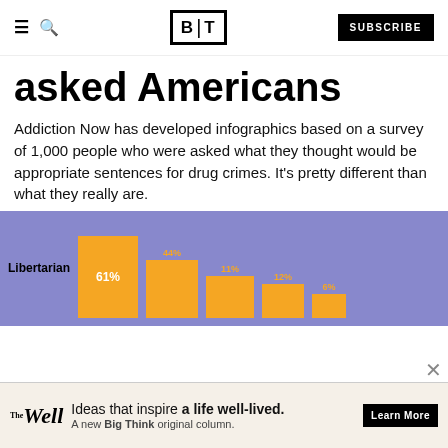BT | SUBSCRIBE
asked Americans
Addiction Now has developed infographics based on a survey of 1,000 people who were asked what they thought would be appropriate sentences for drug crimes. It's pretty different than what they really are.
[Figure (bar-chart): Libertarian]
[Figure (infographic): The Well advertisement banner: Ideas that inspire a life well-lived. A new Big Think original column. Learn More.]